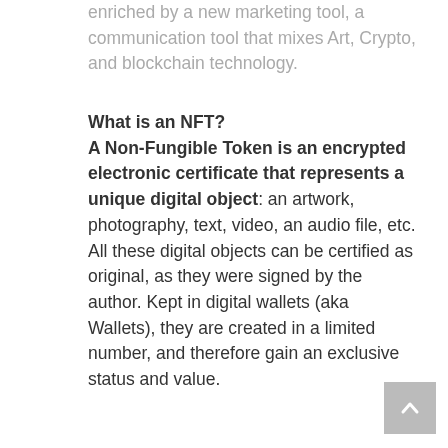enriched by a new marketing tool, a communication tool that mixes Art, Crypto, and blockchain technology.
What is an NFT?
A Non-Fungible Token is an encrypted electronic certificate that represents a unique digital object
: an artwork, photography, text, video, an audio file, etc. All these digital objects can be certified as original, as they were signed by the author. Kept in digital wallets (aka Wallets), they are created in a limited number, and therefore gain an exclusive status and value.